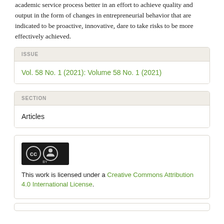academic service process better in an effort to achieve quality and output in the form of changes in entrepreneurial behavior that are indicated to be proactive, innovative, dare to take risks to be more effectively achieved.
ISSUE
Vol. 58 No. 1 (2021): Volume 58 No. 1 (2021)
SECTION
Articles
This work is licensed under a Creative Commons Attribution 4.0 International License.